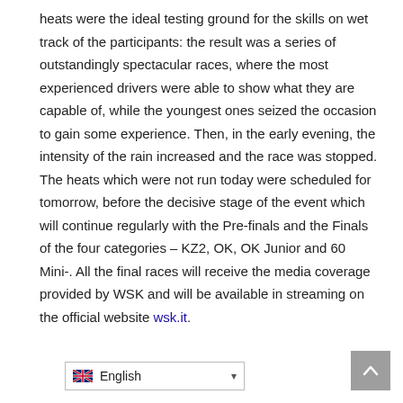heats were the ideal testing ground for the skills on wet track of the participants: the result was a series of outstandingly spectacular races, where the most experienced drivers were able to show what they are capable of, while the youngest ones seized the occasion to gain some experience. Then, in the early evening, the intensity of the rain increased and the race was stopped. The heats which were not run today were scheduled for tomorrow, before the decisive stage of the event which will continue regularly with the Pre-finals and the Finals of the four categories – KZ2, OK, OK Junior and 60 Mini-. All the final races will receive the media coverage provided by WSK and will be available in streaming on the official website wsk.it.